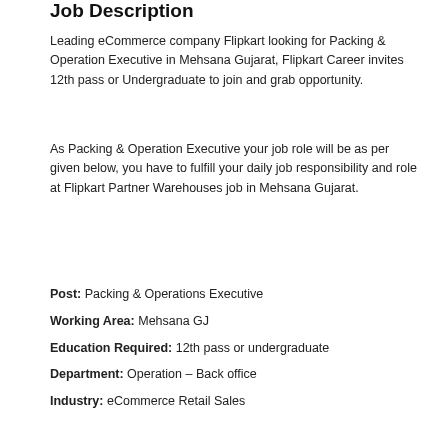Job Description
Leading eCommerce company Flipkart looking for Packing & Operation Executive in Mehsana Gujarat, Flipkart Career invites 12th pass or Undergraduate to join and grab opportunity.
As Packing & Operation Executive your job role will be as per given below, you have to fulfill your daily job responsibility and role at Flipkart Partner Warehouses job in Mehsana Gujarat.
Post: Packing & Operations Executive
Working Area: Mehsana GJ
Education Required: 12th pass or undergraduate
Department: Operation – Back office
Industry: eCommerce Retail Sales